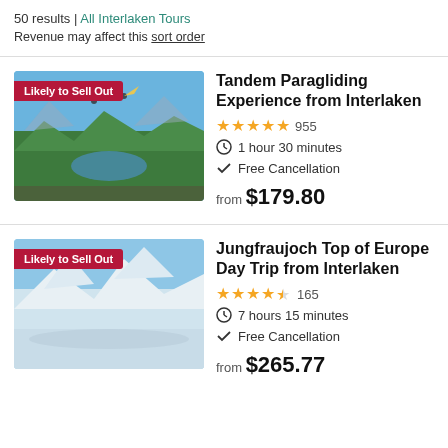50 results | All Interlaken Tours
Revenue may affect this sort order
Tandem Paragliding Experience from Interlaken
★★★★★ 955
1 hour 30 minutes
Free Cancellation
from $179.80
Jungfraujoch Top of Europe Day Trip from Interlaken
★★★★½ 165
7 hours 15 minutes
Free Cancellation
from $265.77